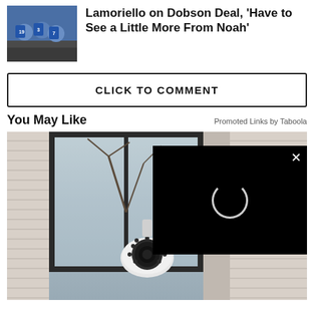[Figure (photo): Hockey players celebrating on ice, thumbnail image]
Lamoriello on Dobson Deal, 'Have to See a Little More From Noah'
CLICK TO COMMENT
You May Like
Promoted Links by Taboola
[Figure (photo): Outdoor security camera mounted near a window on a house, with a black video player overlay showing a loading spinner and an X close button]